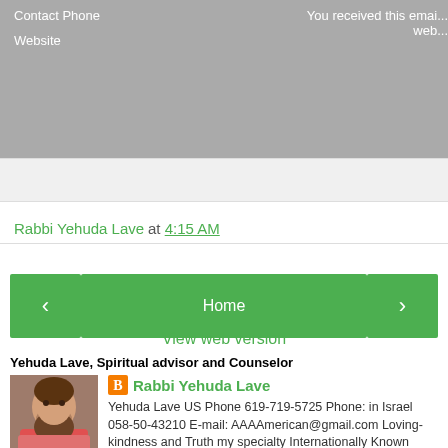Contact Phone
Website
You received this emai...
web...
Rabbi Yehuda Lave at 4:15 AM
[Figure (other): Navigation buttons: left arrow, Home, right arrow]
View web version
Yehuda Lave, Spiritual advisor and Counselor
[Figure (photo): Photo of Rabbi Yehuda Lave, a bearded man]
Rabbi Yehuda Lave
Yehuda Lave US Phone 619-719-5725 Phone: in Israel 058-50-43210 E-mail: AAAAmerican@gmail.com Loving-kindness and Truth my specialty Internationally Known Speaker and Lecturer and Author. Self Help through Bible and Psychology.